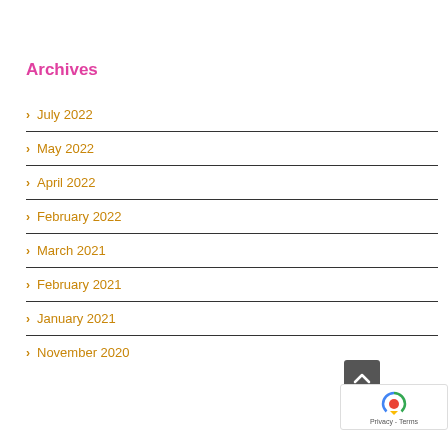Archives
July 2022
May 2022
April 2022
February 2022
March 2021
February 2021
January 2021
November 2020